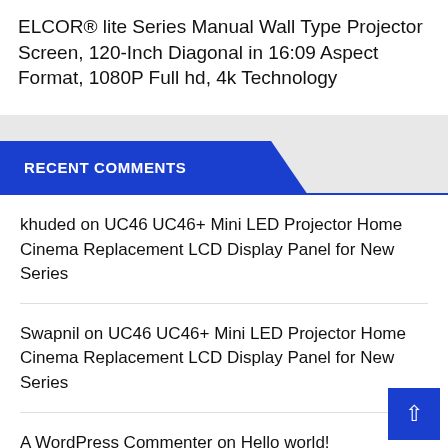ELCOR® lite Series Manual Wall Type Projector Screen, 120-Inch Diagonal in 16:09 Aspect Format, 1080P Full hd, 4k Technology
RECENT COMMENTS
khuded on UC46 UC46+ Mini LED Projector Home Cinema Replacement LCD Display Panel for New Series
Swapnil on UC46 UC46+ Mini LED Projector Home Cinema Replacement LCD Display Panel for New Series
A WordPress Commenter on Hello world!